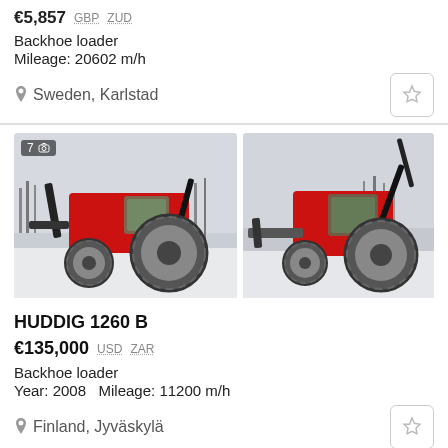€5,857  GBP  ZUD
Backhoe loader
Mileage: 20602 m/h
Sweden, Karlstad
[Figure (photo): Red HUDDIG backhoe loader tractor with chains on tires, left side view, snowy setting]
[Figure (photo): Red HUDDIG backhoe loader tractor with chains on tires, front-right view, snowy setting]
HUDDIG 1260 B
€135,000  USD  ZAR
Backhoe loader
Year: 2008   Mileage: 11200 m/h
Finland, Jyväskylä